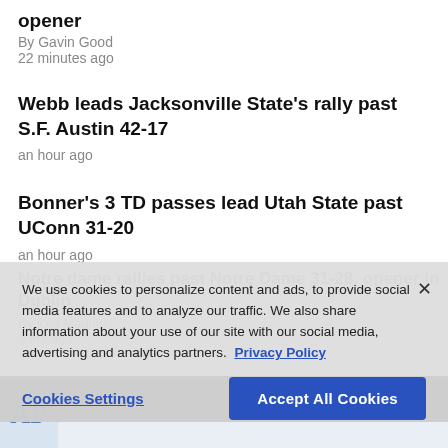opener
By Gavin Good
22 minutes ago
Webb leads Jacksonville State's rally past S.F. Austin 42-17
an hour ago
Bonner's 3 TD passes lead Utah State past UConn 31-20
an hour ago
We use cookies to personalize content and ads, to provide social media features and to analyze our traffic. We also share information about your use of our site with our social media, advertising and analytics partners. Privacy Policy
Cookies Settings
Accept All Cookies